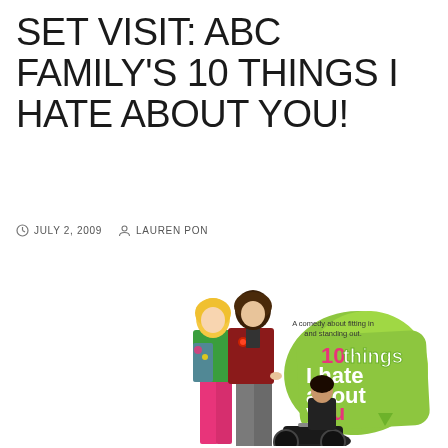SET VISIT: ABC FAMILY'S 10 THINGS I HATE ABOUT YOU!
JULY 2, 2009   LAUREN PON
[Figure (photo): Promotional poster for ABC Family TV show '10 Things I Hate About You' showing two young women standing back-to-back and a young man sitting on a motorcycle. Text on poster reads: 'A comedy about fitting in and standing out.' with the show title '10 things I hate about you' in colorful logo lettering on a green brush-stroke background.]